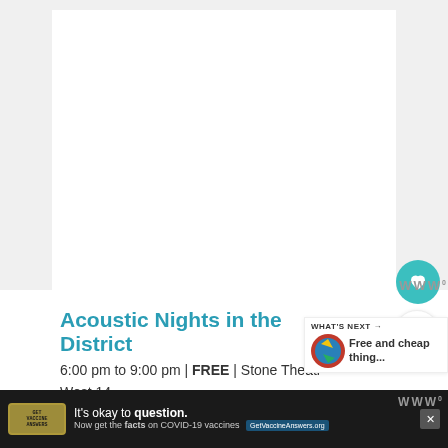[Figure (screenshot): White content area with gray side columns — top portion of a web page showing an event listing]
Acoustic Nights in the District
6:00 pm to 9:00 pm | FREE | Stone Theatre West 14
[Figure (infographic): WHAT'S NEXT arrow panel with circular logo image and text 'Free and cheap thing...']
[Figure (infographic): Teal circular heart (favorite) button and white circular share button with Ww logo]
[Figure (infographic): Bottom advertisement bar: 'It's okay to question. Now get the facts on COVID-19 vaccines. GetVaccineAnswers.org' with stamp graphic and close button]